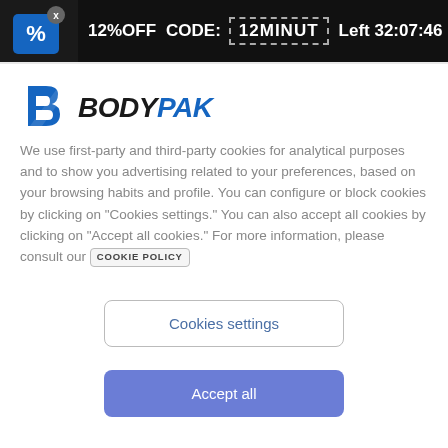12%OFF CODE: 12MINUT Left 32:07:46
[Figure (logo): BODYPAK logo with blue B icon]
We use first-party and third-party cookies for analytical purposes and to show you advertising related to your preferences, based on your browsing habits and profile. You can configure or block cookies by clicking on "Cookies settings." You can also accept all cookies by clicking on "Accept all cookies." For more information, please consult our COOKIE POLICY
Cookies settings
Accept all